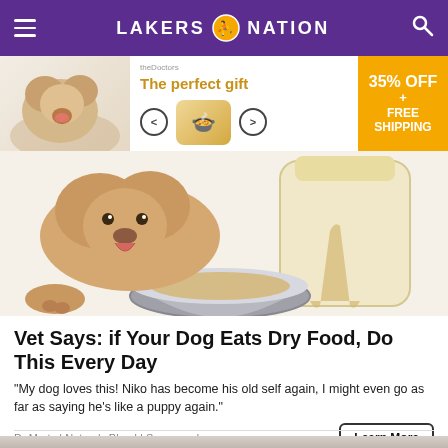LAKERS 🏀 NATION
[Figure (photo): Advertisement banner: 'The perfect gift' with dog food imagery, navigation arrows, bowl of food, and '35% OFF + FREE SHIPPING' badge]
[Figure (illustration): Illustration of a fluffy dog with tongue out, pouring liquid from a bottle into a dog bowl]
Vet Says: if Your Dog Eats Dry Food, Do This Every Day
“My dog loves this! Niko has become his old self again, I might even go as far as saying he’s like a puppy again.”
Dr Marty | Nature’s Blend | Sponsored
[Figure (photo): Partial photo of a person holding something white, cropped at bottom of page]